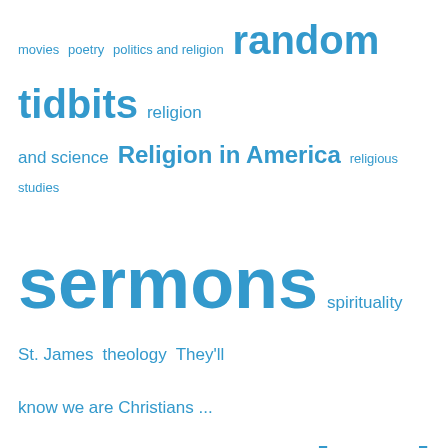[Figure (infographic): Tag cloud with blog category links in varying font sizes, all in blue. Tags include: movies, poetry, politics and religion, random tidbits, religion and science, Religion in America, religious studies, sermons, spirituality, St. James, theology, They'll know we are Christians ..., Uncategorized, visual images, Wisconsin]
| S | M | T | W | T | F | S |
| --- | --- | --- | --- | --- | --- | --- |
|  |  |  |  |  | 1 | 2 |
| 3 | 4 | 5 | 6 | 7 | 8 | 9 |
| 10 | 11 | 12 | 13 | 14 | 15 | 16 |
| 17 | 18 | 19 | 20 | 21 | 22 | 23 |
| 24 | 25 | 26 | 27 | 28 | 29 | 30 |
| 31 |  |  |  |  |  |  |